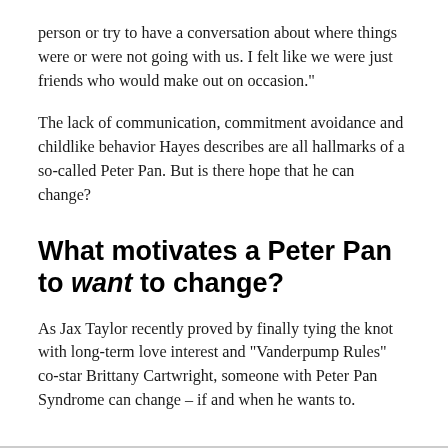person or try to have a conversation about where things were or were not going with us. I felt like we were just friends who would make out on occasion."
The lack of communication, commitment avoidance and childlike behavior Hayes describes are all hallmarks of a so-called Peter Pan. But is there hope that he can change?
What motivates a Peter Pan to want to change?
As Jax Taylor recently proved by finally tying the knot with long-term love interest and "Vanderpump Rules" co-star Brittany Cartwright, someone with Peter Pan Syndrome can change – if and when he wants to.